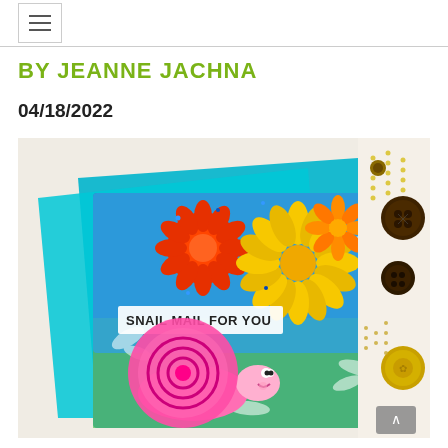≡ (hamburger menu icon)
BY JEANNE JACHNA
04/18/2022
[Figure (photo): A handmade greeting card featuring a pink snail with a spiral shell on a blue and green background with colorful flowers (red, orange, yellow) and white botanical designs. A banner reads 'SNAIL MAIL FOR YOU'. The card is surrounded by teal paper, wooden buttons, gold beads, and gears on a white textured surface.]